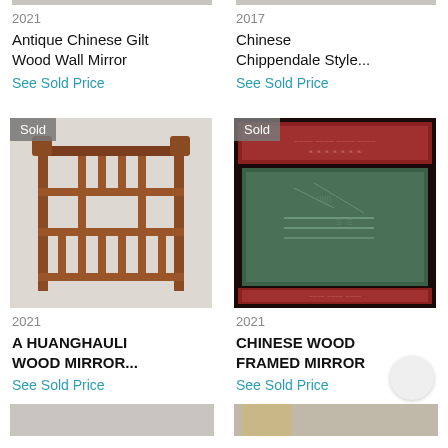2021
Antique Chinese Gilt Wood Wall Mirror
See Sold Price
[Figure (photo): Antique Chinese Gilt Wood Wall Mirror - top portion partially visible]
2017
Chinese Chippendale Style...
See Sold Price
[Figure (photo): Chinese Chippendale Style mirror - top portion partially visible]
[Figure (photo): Chinese wood shelf/stand with multiple tiers, wooden frame, sold badge overlay]
[Figure (photo): Chinese wood framed mirror with dark green glass panel in ornate red/dark wood frame with carved details, sold badge overlay]
2021
A HUANGHAULI WOOD MIRROR...
See Sold Price
2021
CHINESE WOOD FRAMED MIRROR
See Sold Price
[Figure (photo): Bottom row items partially visible]
[Figure (photo): Bottom row items partially visible]